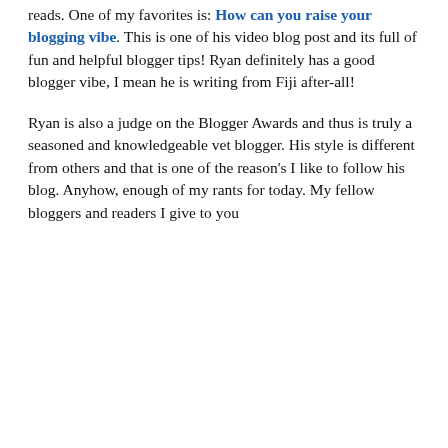reads. One of my favorites is: How can you raise your blogging vibe. This is one of his video blog post and its full of fun and helpful blogger tips! Ryan definitely has a good blogger vibe, I mean he is writing from Fiji after-all!
Ryan is also a judge on the Blogger Awards and thus is truly a seasoned and knowledgeable vet blogger. His style is different from others and that is one of the reason's I like to follow his blog. Anyhow, enough of my rants for today. My fellow bloggers and readers I give to you
Privacy & Cookies: This site uses cookies. By continuing to use this website, you agree to their use. To find out more, including how to control cookies, see here: Cookie Policy